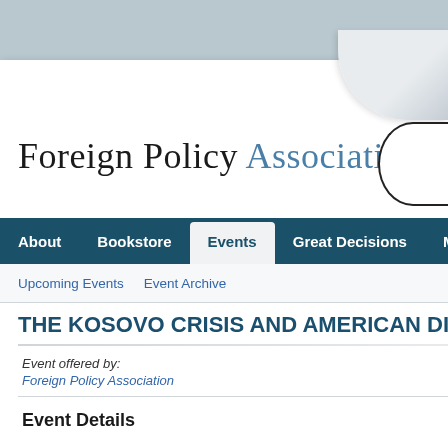Foreign Policy Association
About  Bookstore  Events  Great Decisions  Me...
Upcoming Events  Event Archive
THE KOSOVO CRISIS AND AMERICAN DI...
Event offered by: Foreign Policy Association
Event Details
| Field | Value |
| --- | --- |
| Date: | Tuesday, March 18, 2008
6:00 PM - 7:30 PM |